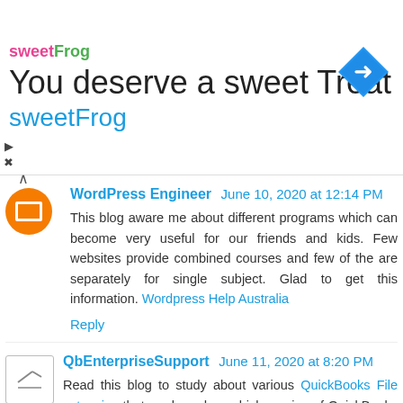[Figure (other): SweetFrog advertisement banner with logo, tagline 'You deserve a sweet Treat', brand name 'sweetFrog', and a blue navigation icon on the right.]
WordPress Engineer  June 10, 2020 at 12:14 PM

This blog aware me about different programs which can become very useful for our friends and kids. Few websites provide combined courses and few of the are separately for single subject. Glad to get this information. Wordpress Help Australia

Reply
QbEnterpriseSupport  June 11, 2020 at 8:20 PM

Read this blog to study about various QuickBooks File extension that are based on which version of QuickBooks you are working on and their functions.

Reply